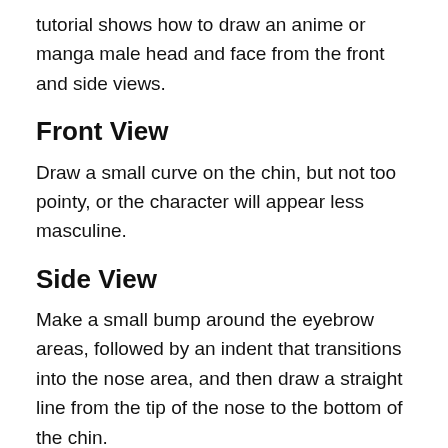tutorial shows how to draw an anime or manga male head and face from the front and side views.
Front View
Draw a small curve on the chin, but not too pointy, or the character will appear less masculine.
Side View
Make a small bump around the eyebrow areas, followed by an indent that transitions into the nose area, and then draw a straight line from the tip of the nose to the bottom of the chin.
Step 2 – Drawing the Ears